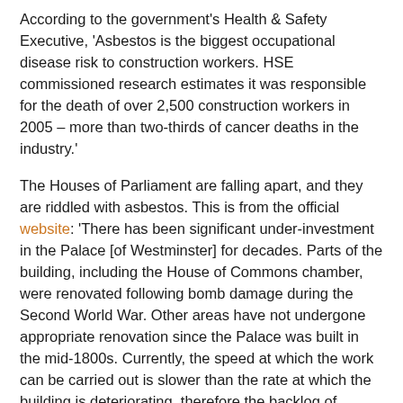According to the government's Health & Safety Executive, 'Asbestos is the biggest occupational disease risk to construction workers. HSE commissioned research estimates it was responsible for the death of over 2,500 construction workers in 2005 – more than two-thirds of cancer deaths in the industry.'
The Houses of Parliament are falling apart, and they are riddled with asbestos. This is from the official website: 'There has been significant under-investment in the Palace [of Westminster] for decades. Parts of the building, including the House of Commons chamber, were renovated following bomb damage during the Second World War. Other areas have not undergone appropriate renovation since the Palace was built in the mid-1800s. Currently, the speed at which the work can be carried out is slower than the rate at which the building is deteriorating, therefore the backlog of essential repairs, and in turn the risk of system failure, is growing significantly over time. These challenges are compounded by the presence of asbestos throughout the building and fitting work around sittings of Parliament. The current piecemeal approach of repairing only those areas at highest